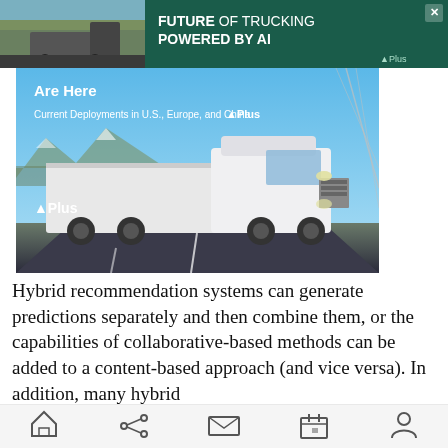[Figure (screenshot): Advertisement banner for Plus AI trucking: 'FUTURE OF TRUCKING POWERED BY AI' with truck image on green background]
[Figure (photo): Plus branded promotional image showing a white semi-truck on a highway with blue sky, mountains, and text 'Are Here', 'Current Deployments in U.S., Europe, and China' and Plus logo]
Hybrid recommendation systems can generate predictions separately and then combine them, or the capabilities of collaborative-based methods can be added to a content-based approach (and vice versa). In addition, many hybrid
[Figure (screenshot): Mobile browser bottom navigation bar with home, share, mail, calendar, and profile icons]